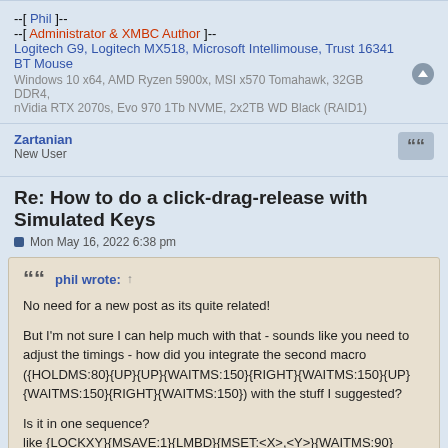--[ Phil ]--
--[ Administrator & XMBC Author ]--
Logitech G9, Logitech MX518, Microsoft Intellimouse, Trust 16341 BT Mouse
Windows 10 x64, AMD Ryzen 5900x, MSI x570 Tomahawk, 32GB DDR4,
nVidia RTX 2070s, Evo 970 1Tb NVME, 2x2TB WD Black (RAID1)
Zartanian
New User
Re: How to do a click-drag-release with Simulated Keys
Mon May 16, 2022 6:38 pm
phil wrote: ↑
No need for a new post as its quite related!

But I'm not sure I can help much with that - sounds like you need to adjust the timings - how did you integrate the second macro ({HOLDMS:80}{UP}{UP}{WAITMS:150}{RIGHT}{WAITMS:150}{UP}{WAITMS:150}{RIGHT}{WAITMS:150}) with the stuff I suggested?

Is it in one sequence?
like {LOCKXY}{MSAVE:1}{LMBD}{MSET:<X>,<Y>}{WAITMS:90}{WAITMS:90}{MADD:200,0}{LMBU}{MREST:1}{UNLOCKXY}